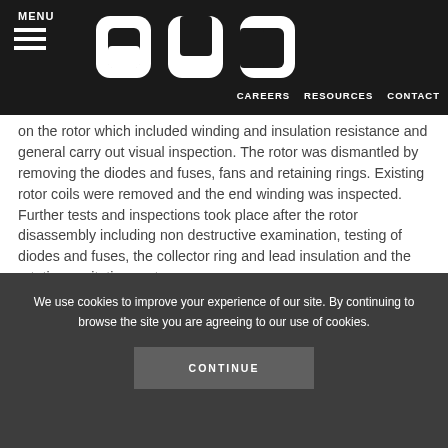MENU | CAREERS | RESOURCES | CONTACT
on the rotor which included winding and insulation resistance and general carry out visual inspection. The rotor was dismantled by removing the diodes and fuses, fans and retaining rings. Existing rotor coils were removed and the end winding was inspected. Further tests and inspections took place after the rotor disassembly including non destructive examination, testing of diodes and fuses, the collector ring and lead insulation and the rotating excitation system.
The new insulation including rotor coils was designed and manufactured by our team of experienced and qualified engineers in the Rugby workshop and were
We use cookies to improve your experience of our site. By continuing to browse the site you are agreeing to our use of cookies.